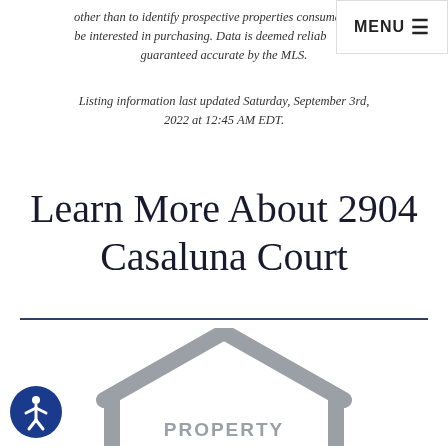other than to identify prospective properties consumers may be interested in purchasing. Data is deemed reliable but not guaranteed accurate by the MLS.
MENU ☰
Listing information last updated Saturday, September 3rd, 2022 at 12:45 AM EDT.
Learn More About 2904 Casaluna Court
[Figure (illustration): House outline icon with the word PROPERTY inside, rendered in gray]